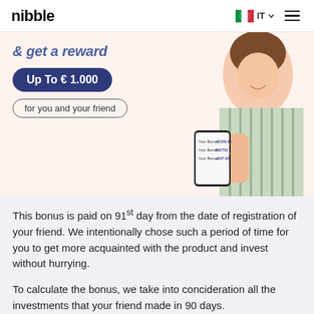nibble | IT
[Figure (illustration): Hero banner with light peach background showing promotional text '& get a reward', 'Up To €1.000', 'for you and your friend', and a smiling woman in a striped blouse holding a smartphone with financial figures displayed.]
This bonus is paid on 91st day from the date of registration of your friend. We intentionally chose such a period of time for you to get more acquainted with the product and invest without hurrying.
To calculate the bonus, we take into concideration all the investments that your friend made in 90 days. The...